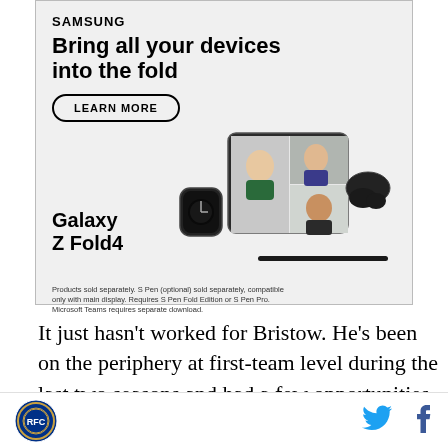[Figure (infographic): Samsung advertisement: 'Bring all your devices into the fold' featuring Galaxy Z Fold4, with a LEARN MORE button, images of a Galaxy Watch, Galaxy Z Fold4 phone in video call, and Galaxy Buds. Disclaimer text at bottom.]
It just hasn’t worked for Bristow. He’s been on the periphery at first-team level during the last two seasons and had a few opportunities in a variety of left-flank roles, but has come up short. Even at times when Reading have lacked a senior left back, such as before
[Figure (logo): Circular sports club badge/crest logo]
[Figure (other): Twitter bird icon in blue]
[Figure (other): Facebook f icon in dark blue]